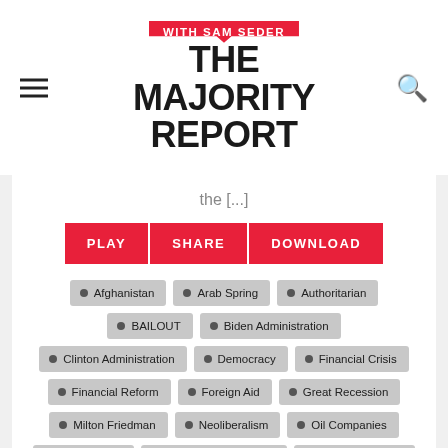[Figure (logo): The Majority Report with Sam Seder logo. Red speech bubble with 'WITH SAM SEDER' text above bold black 'THE MAJORITY REPORT' text.]
the [...]
PLAY | SHARE | DOWNLOAD
Afghanistan
Arab Spring
Authoritarian
BAILOUT
Biden Administration
Clinton Administration
Democracy
Financial Crisis
Financial Reform
Foreign Aid
Great Recession
Milton Friedman
Neoliberalism
Oil Companies
reaganomics
Regan Administration
Regulatory State